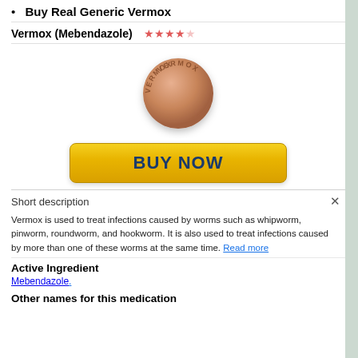Buy Real Generic Vermox
Vermox (Mebendazole) ★★★★☆
[Figure (photo): A round salmon/peach-colored pill tablet with VERMOX text embossed on it]
[Figure (other): Yellow BUY NOW button]
Short description
Vermox is used to treat infections caused by worms such as whipworm, pinworm, roundworm, and hookworm. It is also used to treat infections caused by more than one of these worms at the same time. Read more
Active Ingredient
Mebendazole.
Other names for this medication